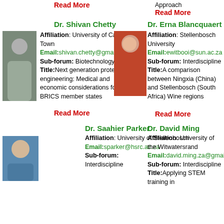Read More
Approach
Read More
Dr. Shivan Chetty
Affiliation: University of Cape Town
Email: shivan.chetty@gmail.com
Sub-forum: Biotechnology
Title: Next generation protein engineering: Medical and economic considerations for BRICS member states
Read More
Dr. Erna Blancquaert
Affiliation: Stellenbosch University
Email: ewitbooi@sun.ac.za
Sub-forum: Interdiscipline
Title: A comparison between Ningxia (China) and Stellenbosch (South Africa) Wine regions
Read More
Dr. Saahier Parker
Affiliation: University of Stellenbosch
Email: sparker@hsrc.ac.za
Sub-forum: Interdiscipline
Dr. David Ming
Affiliation: University of the Witwatersrand
Email: david.ming.za@gmail.com
Sub-forum: Interdiscipline
Title: Applying STEM training in